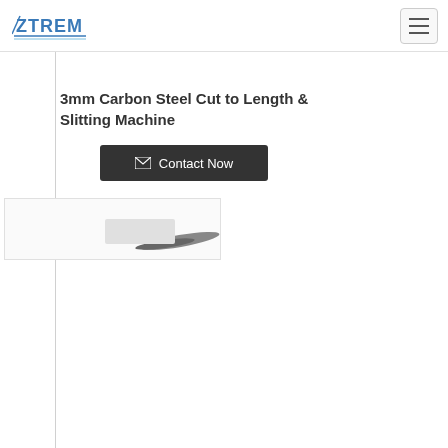ZTREM
3mm Carbon Steel Cut to Length & Slitting Machine
Contact Now
[Figure (photo): Partial view of a 3mm Carbon Steel Cut to Length & Slitting Machine, showing the machine surface and a cutting blade or roller element]